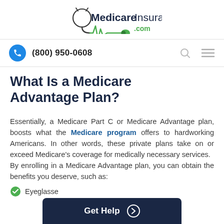[Figure (logo): MedicareInsurance.com logo with stethoscope graphic and green heartbeat line]
(800) 950-0608
What Is a Medicare Advantage Plan?
Essentially, a Medicare Part C or Medicare Advantage plan, boosts what the Medicare program offers to hardworking Americans. In other words, these private plans take on or exceed Medicare's coverage for medically necessary services. By enrolling in a Medicare Advantage plan, you can obtain the benefits you deserve, such as:
Eyeglasses